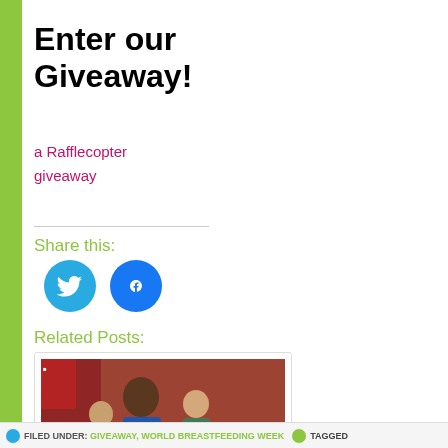Enter our Giveaway!
a Rafflecopter giveaway
Share this:
[Figure (illustration): Twitter bird icon circle and Facebook logo icon circle, both bright blue]
Related Posts:
[Figure (photo): A woman breastfeeding a baby on TV, seated among a group of people on red chairs]
Why I breastfed my baby on TV
FILED UNDER: GIVEAWAY, WORLD BREASTFEEDING WEEK   TAGGED